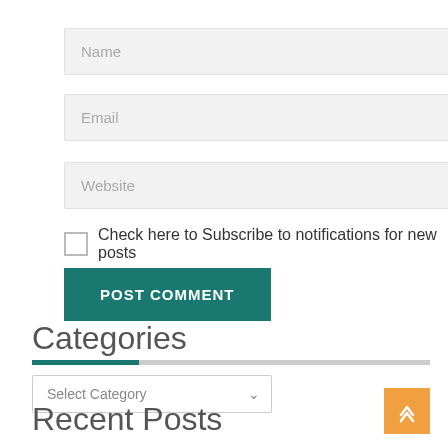Name
Email
Website
Check here to Subscribe to notifications for new posts
POST COMMENT
Categories
Select Category
Recent Posts